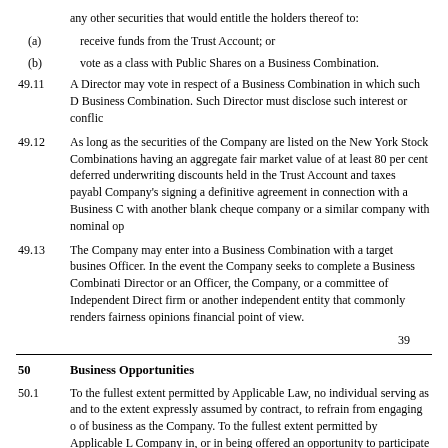any other securities that would entitle the holders thereof to:
(a)	receive funds from the Trust Account; or
(b)	vote as a class with Public Shares on a Business Combination.
49.11	A Director may vote in respect of a Business Combination in which such Director has a financial interest or conflicts of interest in connection with such Business Combination. Such Director must disclose such interest or conflict at the first opportunity.
49.12	As long as the securities of the Company are listed on the New York Stock Exchange, the Company will only enter into Business Combinations having an aggregate fair market value of at least 80 per cent of the assets held in the Trust Account (excluding the amount of any deferred underwriting discounts held in the Trust Account and taxes payable on the income earned on the Trust Account) at the time of the Company's signing a definitive agreement in connection with a Business Combination. The Company will not enter into a Business Combination with another blank cheque company or a similar company with nominal operations.
49.13	The Company may enter into a Business Combination with a target business that is affiliated with the Sponsor, a Director or an Officer. In the event the Company seeks to complete a Business Combination with a target that is affiliated with a Director or an Officer, the Company, or a committee of Independent Directors, will obtain an opinion from an independent investment banking firm or another independent entity that commonly renders fairness opinions that such a Business Combination is fair to the Company from a financial point of view.
39
50	Business Opportunities
50.1	To the fullest extent permitted by Applicable Law, no individual serving as a Director or an Officer shall have any duty, except and to the extent expressly assumed by contract, to refrain from engaging directly or indirectly in the same or similar business activities or lines of business as the Company. To the fullest extent permitted by Applicable Law, the Company renounces any interest or expectancy of the Company in, or in being offered an opportunity to participate in, any potential transaction or matter which may be a corporate opportunity for Management, on the one hand, and the Company, on the other. Except to the extent expressly assumed by contract, to the fullest extent permitted by Applicable Law, Management shall have no duty to communicate or offer any such corporate opportunity to the Company and shall not be liable to the Company or its Members for breach of any fiduciary or other duty, as a Director or Officer or otherwise, by reason of the fact that such person pursues or acquires such corporate opportunity for itself, himself or herself, directs such corporate opportunity to another person, or does not communicate information regarding such corporate opportunity to the Company.